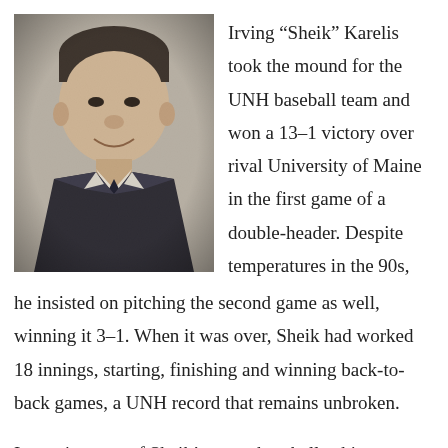[Figure (photo): Black and white portrait photograph of Irving 'Sheik' Karelis, a middle-aged man in a suit and tie, smiling at the camera.]
Irving “Sheik” Karelis took the mound for the UNH baseball team and won a 13–1 victory over rival University of Maine in the first game of a double-header. Despite temperatures in the 90s, he insisted on pitching the second game as well, winning it 3–1. When it was over, Sheik had worked 18 innings, starting, finishing and winning back-to-back games, a UNH record that remains unbroken.
It was just one of Sheik’s many baseball achievements during his years in Durham. He also pitched five shutouts, had a three-year varsity record of 20-3, went 8-1 as a senior and was